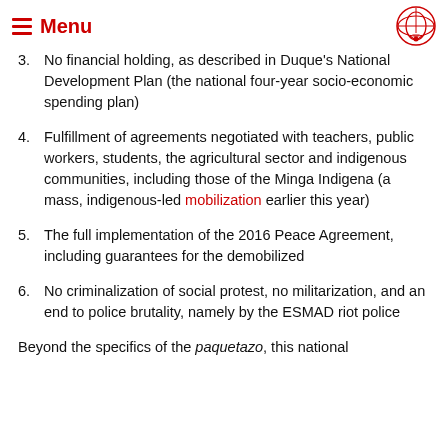≡ Menu
3. No financial holding, as described in Duque's National Development Plan (the national four-year socio-economic spending plan)
4. Fulfillment of agreements negotiated with teachers, public workers, students, the agricultural sector and indigenous communities, including those of the Minga Indigena (a mass, indigenous-led mobilization earlier this year)
5. The full implementation of the 2016 Peace Agreement, including guarantees for the demobilized
6. No criminalization of social protest, no militarization, and an end to police brutality, namely by the ESMAD riot police
Beyond the specifics of the paquetazo, this national